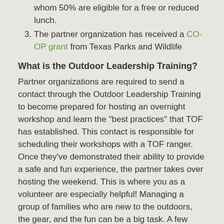whom 50% are eligible for a free or reduced lunch.
The partner organization has received a CO-OP grant from Texas Parks and Wildlife
What is the Outdoor Leadership Training?
Partner organizations are required to send a contact through the Outdoor Leadership Training to become prepared for hosting an overnight workshop and learn the "best practices" that TOF has established. This contact is responsible for scheduling their workshops with a TOF ranger. Once they've demonstrated their ability to provide a safe and fun experience, the partner takes over hosting the weekend. This is where you as a volunteer are especially helpful! Managing a group of families who are new to the outdoors, the gear, and the fun can be a big task. A few extra hands to manage gear and a few extra eyes to watch for safety is extremely valuable!
Who is this Training For?
Outdoor Leadership Training is designed to provide TOF Volunteers and Community Partner Leaders with hands-on experiences and scenarios to help them learn to facilitate overnight camping workshops at Texas State Parks. Volunteers also gain knowledge and programming